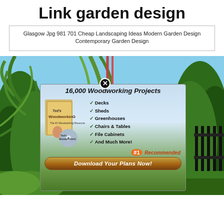Link garden design
Glasgow Jpg 981 701 Cheap Landscaping Ideas Modern Garden Design Contemporary Garden Design
[Figure (screenshot): A garden/tropical plants background photo with an overlaid woodworking advertisement banner reading '16,000 Woodworking Projects' with checklist items (Decks, Sheds, Greenhouses, Chairs & Tables, File Cabinets, And Much More!) and a 'Download Your Plans Now!' button. A close (X) button appears at the top center of the ad.]